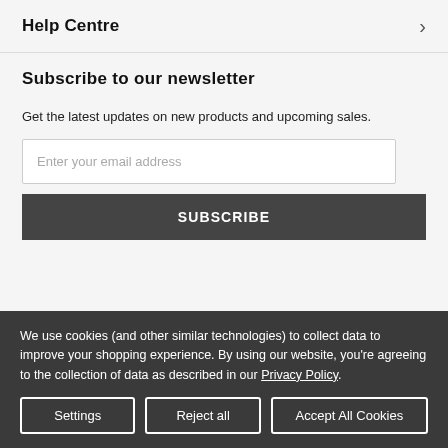Help Centre
Subscribe to our newsletter
Get the latest updates on new products and upcoming sales.
Enter your email address
SUBSCRIBE
We use cookies (and other similar technologies) to collect data to improve your shopping experience. By using our website, you’re agreeing to the collection of data as described in our Privacy Policy.
Settings
Reject all
Accept All Cookies